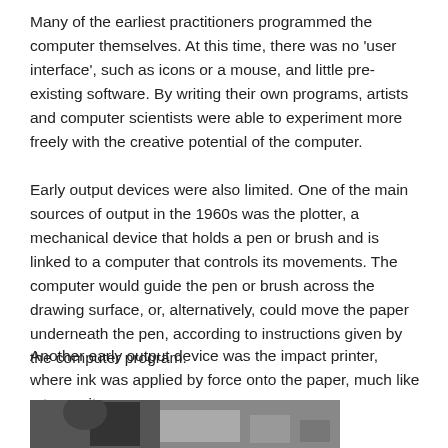Many of the earliest practitioners programmed the computer themselves. At this time, there was no 'user interface', such as icons or a mouse, and little pre-existing software. By writing their own programs, artists and computer scientists were able to experiment more freely with the creative potential of the computer.
Early output devices were also limited. One of the main sources of output in the 1960s was the plotter, a mechanical device that holds a pen or brush and is linked to a computer that controls its movements. The computer would guide the pen or brush across the drawing surface, or, alternatively, could move the paper underneath the pen, according to instructions given by the computer program.
Another early output device was the impact printer, where ink was applied by force onto the paper, much like a typewriter.
[Figure (photo): Black and white photograph of a person (seen from behind/side) sitting at an early computer terminal or device, with equipment visible in the background.]